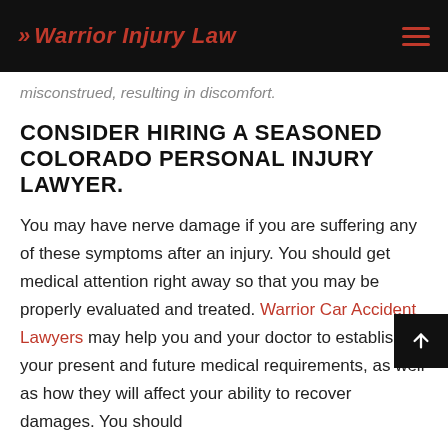>> Warrior Injury Law
misconstrued, resulting in discomfort.
CONSIDER HIRING A SEASONED COLORADO PERSONAL INJURY LAWYER.
You may have nerve damage if you are suffering any of these symptoms after an injury. You should get medical attention right away so that you may be properly evaluated and treated. Warrior Car Accident Lawyers may help you and your doctor to establish your present and future medical requirements, as well as how they will affect your ability to recover damages. You should